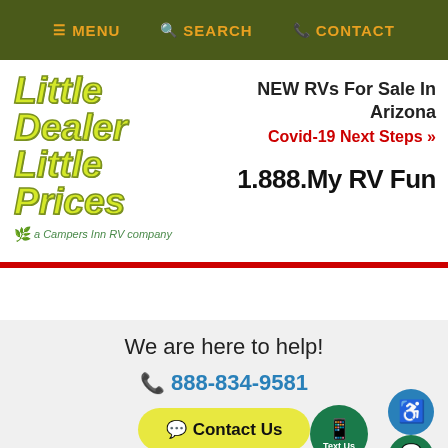≡ MENU  🔍 SEARCH  📞 CONTACT
[Figure (logo): Little Dealer Little Prices logo — yellow-green italic bold text on white, with subtitle 'a Campers Inn RV company']
NEW RVs For Sale In Arizona
Covid-19 Next Steps »
1.888.My RV Fun
We are here to help!
📞 888-834-9581
💬 Contact Us
Text Us
Chat